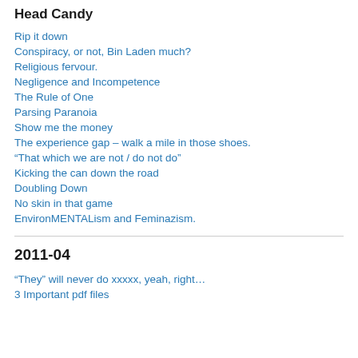Head Candy
Rip it down
Conspiracy, or not, Bin Laden much?
Religious fervour.
Negligence and Incompetence
The Rule of One
Parsing Paranoia
Show me the money
The experience gap – walk a mile in those shoes.
“That which we are not / do not do”
Kicking the can down the road
Doubling Down
No skin in that game
EnvironMENTALism and Feminazism.
2011-04
“They” will never do xxxxx, yeah, right…
3 Important pdf files